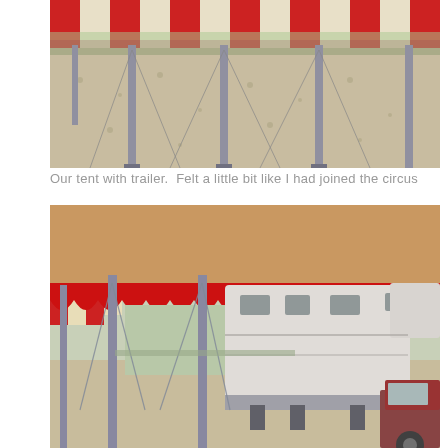[Figure (photo): Interior view of a large red and white striped tent canopy from below, showing metal support poles planted in gravel/dirt ground, with chain-link fence visible in background.]
Our tent with trailer.  Felt a little bit like I had joined the circus
[Figure (photo): View from under a red and white striped tent with scalloped edge, showing a large white fifth-wheel RV trailer parked underneath with a red pickup truck visible on the right, metal support poles in foreground, sandy/gravel ground.]